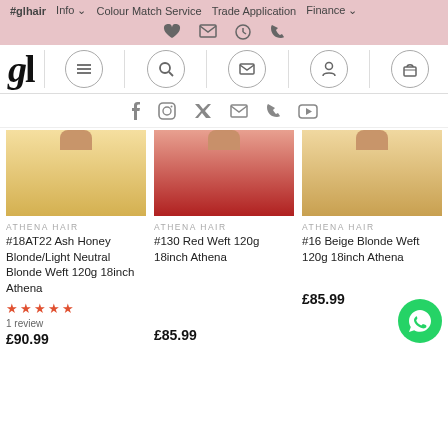#glhair  Info  Colour Match Service  Trade Application  Finance
[Figure (screenshot): GL Hair website navigation with logo, menu icons, social media icons row, and three product listings for Athena Hair weft hair extensions]
ATHENA HAIR
#18AT22 Ash Honey Blonde/Light Neutral Blonde Weft 120g 18inch Athena
1 review
£90.99
ATHENA HAIR
#130 Red Weft 120g 18inch Athena
£85.99
ATHENA HAIR
#16 Beige Blonde Weft 120g 18inch Athena
£85.99